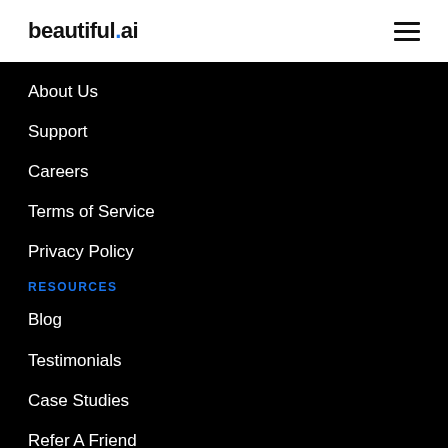beautiful.ai
About Us
Support
Careers
Terms of Service
Privacy Policy
RESOURCES
Blog
Testimonials
Case Studies
Refer A Friend
Affiliates
Scholarship